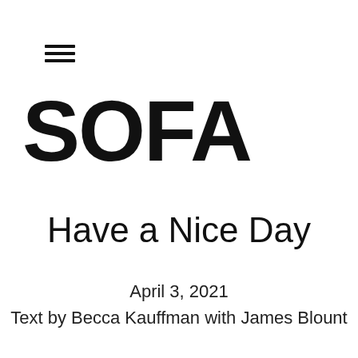≡
SOFA
Have a Nice Day
April 3, 2021
Text by Becca Kauffman with James Blount